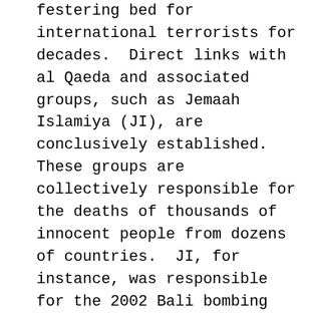festering bed for international terrorists for decades.  Direct links with al Qaeda and associated groups, such as Jemaah Islamiya (JI), are conclusively established.  These groups are collectively responsible for the deaths of thousands of innocent people from dozens of countries.  JI, for instance, was responsible for the 2002 Bali bombing that killed 202 people, including my friend Beata Pawlak.
Some folks are asking why greater successes are being achieved in the Philippines with a smaller footprint than we have in Afghanistan, and they are starting to wonder if this model would